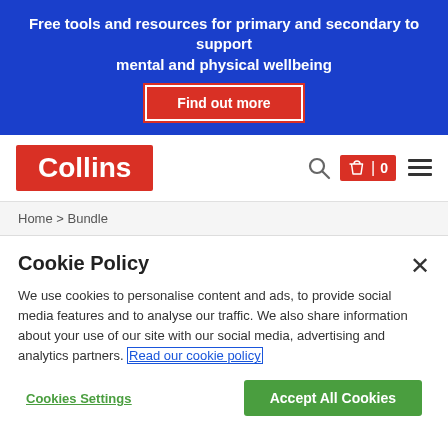Free tools and resources for primary and secondary to support mental and physical wellbeing
[Figure (logo): Collins logo - red background with white text]
Home > Bundle
Cookie Policy
We use cookies to personalise content and ads, to provide social media features and to analyse our traffic. We also share information about your use of our site with our social media, advertising and analytics partners. Read our cookie policy
Cookies Settings
Accept All Cookies